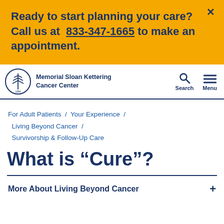Ready to start planning your care? Call us at 833-347-1665 to make an appointment.
[Figure (logo): Memorial Sloan Kettering Cancer Center logo — circular emblem with tree/staff symbol and year 1884]
Memorial Sloan Kettering Cancer Center
For Adult Patients / Your Experience / Living Beyond Cancer / Survivorship & Follow-Up Care
What is "Cure"?
More About Living Beyond Cancer +